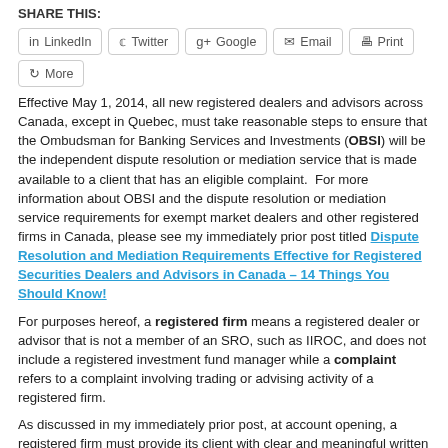SHARE THIS:
[Figure (other): Social sharing buttons: LinkedIn, Twitter, Google+, Email, Print, More]
Effective May 1, 2014, all new registered dealers and advisors across Canada, except in Quebec, must take reasonable steps to ensure that the Ombudsman for Banking Services and Investments (OBSI) will be the independent dispute resolution or mediation service that is made available to a client that has an eligible complaint.  For more information about OBSI and the dispute resolution or mediation service requirements for exempt market dealers and other registered firms in Canada, please see my immediately prior post titled Dispute Resolution and Mediation Requirements Effective for Registered Securities Dealers and Advisors in Canada – 14 Things You Should Know!
For purposes hereof, a registered firm means a registered dealer or advisor that is not a member of an SRO, such as IIROC, and does not include a registered investment fund manager while a complaint refers to a complaint involving trading or advising activity of a registered firm.
As discussed in my immediately prior post, at account opening, a registered firm must provide its client with clear and meaningful written